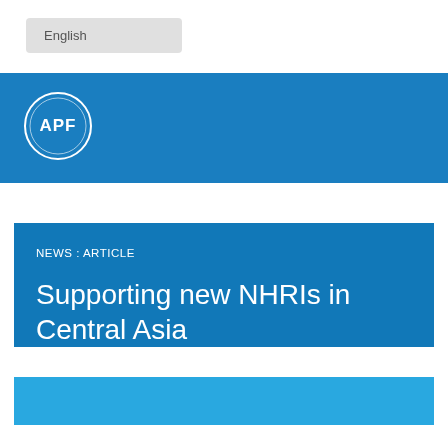English
[Figure (logo): APF logo: white circle with white text APF and decorative rings on a blue background]
NEWS : ARTICLE
Supporting new NHRIs in Central Asia